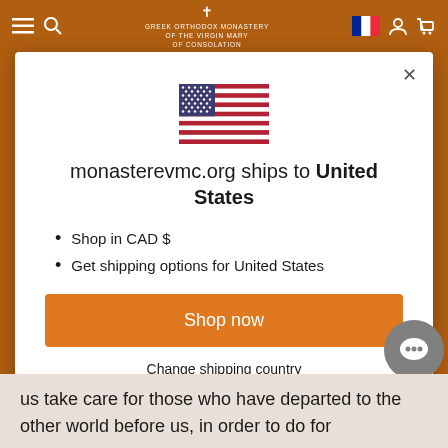Greek Orthodox Monastery of the Virgin Mary of Consolation
[Figure (screenshot): Modal dialog showing US flag, shipping info for United States, Shop now button, Change shipping country link]
Shop in CAD $
Get shipping options for United States
us take care for those who have departed to the other world before us, in order to do for